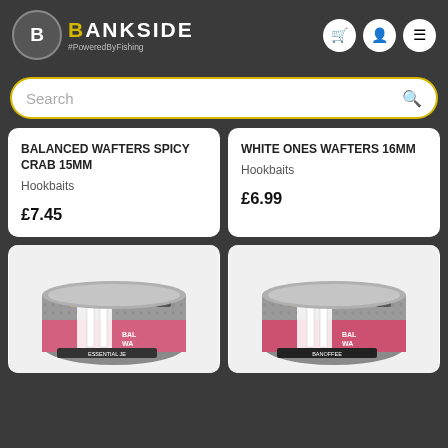BANKSIDE #PoweredByFishing
[Figure (screenshot): Search bar with yellow border and magnifying glass icon]
BALANCED WAFTERS SPICY CRAB 15MM
Hookbaits
£7.45
WHITE ONES WAFTERS 16MM
Hookbaits
£6.99
[Figure (photo): Balanced Wafters bait container - Essential JE flavour, pink and grey label with yellow/tan boilies]
[Figure (photo): Balanced Wafters bait container - Banoffee flavour, pink and grey label with tan boilies]